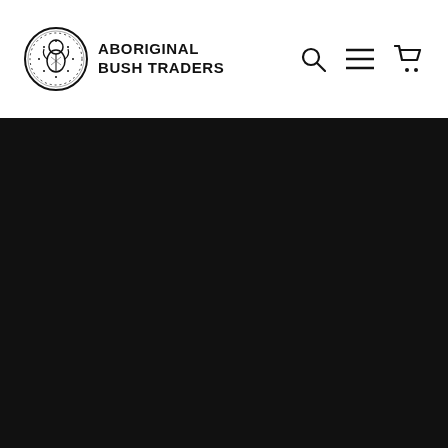Aboriginal Bush Traders
[Figure (photo): Large black/dark area below the header, likely a hero image or background]